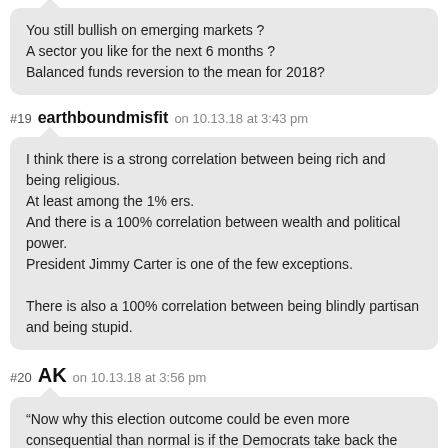You still bullish on emerging markets ?
A sector you like for the next 6 months ?
Balanced funds reversion to the mean for 2018?
#19 earthboundmisfit on 10.13.18 at 3:43 pm
I think there is a strong correlation between being rich and being religious.
At least among the 1% ers.
And there is a 100% correlation between wealth and political power.
President Jimmy Carter is one of the few exceptions.

There is also a 100% correlation between being blindly partisan and being stupid.
#20 AK on 10.13.18 at 3:56 pm
“Now why this election outcome could be even more consequential than normal is if the Democrats take back the House and Senate.”
=================================